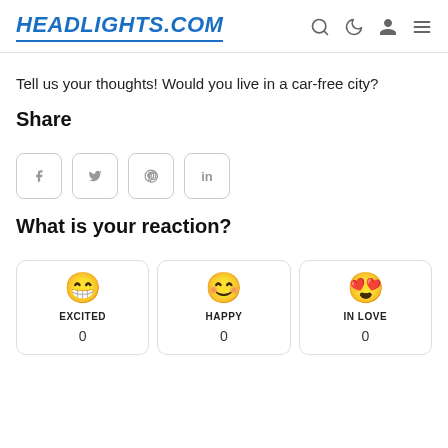HEADLIGHTS.COM
Tell us your thoughts! Would you live in a car-free city?
Share
[Figure (infographic): Four social share buttons: Facebook (f), Twitter (bird icon), Pinterest (p), LinkedIn (in)]
What is your reaction?
[Figure (infographic): Three reaction cards: EXCITED (laughing emoji, 0), HAPPY (smiling emoji, 0), IN LOVE (heart-eyes emoji, 0)]